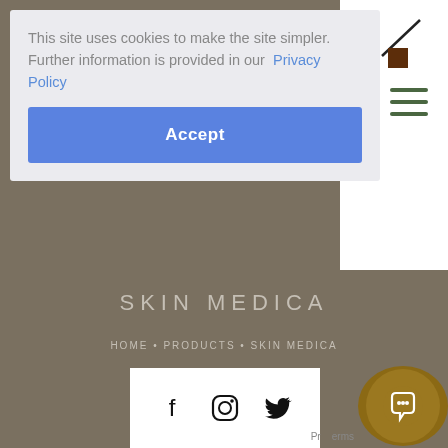This site uses cookies to make the site simpler. Further information is provided in our  Privacy Policy
Accept
SKIN MEDICA
HOME • PRODUCTS • SKIN MEDICA
[Figure (logo): Diagonal slash logo mark with brown square element, top right]
[Figure (infographic): Hamburger menu icon (three horizontal lines)]
[Figure (infographic): Social media icons: Facebook, Instagram, Twitter in white box]
[Figure (infographic): Gold circular chat support button with speech bubble icon, bottom right]